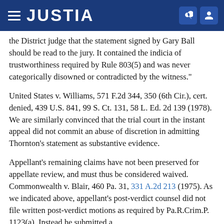JUSTIA
the District judge that the statement signed by Gary Ball should be read to the jury. It contained the indicia of trustworthiness required by Rule 803(5) and was never categorically disowned or contradicted by the witness."
United States v. Williams, 571 F.2d 344, 350 (6th Cir.), cert. denied, 439 U.S. 841, 99 S. Ct. 131, 58 L. Ed. 2d 139 (1978). We are similarly convinced that the trial court in the instant appeal did not commit an abuse of discretion in admitting Thornton's statement as substantive evidence.
Appellant's remaining claims have not been preserved for appellate review, and must thus be considered waived. Commonwealth v. Blair, 460 Pa. 31, 331 A.2d 213 (1975). As we indicated above, appellant's post-verdict counsel did not file written post-verdict motions as required by Pa.R.Crim.P. 1123(a). Instead he submitted a